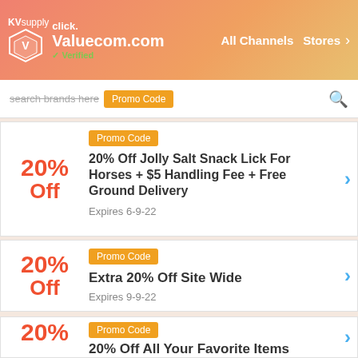KVsupply | click. | Valuecom.com | Verified | All Channels | Stores
search brands here | Promo Code
20% Off Jolly Salt Snack Lick For Horses + $5 Handling Fee + Free Ground Delivery | Expires 6-9-22 | Promo Code
Extra 20% Off Site Wide | Expires 9-9-22 | Promo Code
20% Off All Your Favorite Items | Promo Code